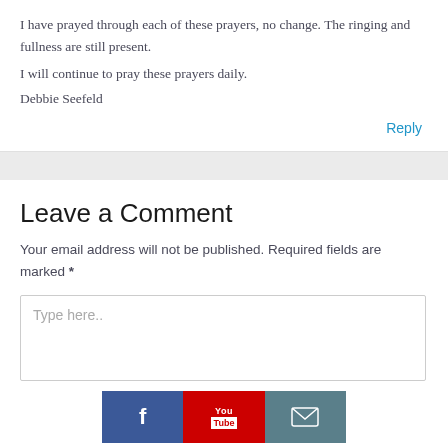I have prayed through each of these prayers, no change. The ringing and fullness are still present.
I will continue to pray these prayers daily.
Debbie Seefeld
Reply
Leave a Comment
Your email address will not be published. Required fields are marked *
[Figure (screenshot): Comment text area with placeholder 'Type here..' and a social media bar below with Facebook, YouTube, and email icons]